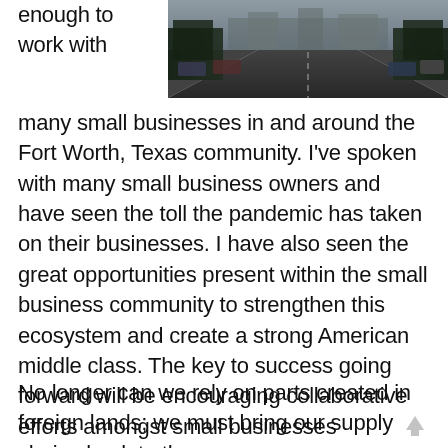enough to work with
[Figure (photo): A street scene with parked cars on both sides of the road, viewed from above/distance, with trees and buildings along the sides. Dark, moody urban street photo.]
many small businesses in and around the Fort Worth, Texas community. I've spoken with many small business owners and have seen the toll the pandemic has taken on their businesses. I have also seen the great opportunities present within the small business community to strengthen this ecosystem and create a strong American middle class. The key to success going forward will be encouraging collaborative efforts amongst small businesses throughout the country to establish strong domestic supply chains and encourage the return of domestic manufacturing.
No longer can we rely on parts created in foreign lands; we must bring our supply chains back to the